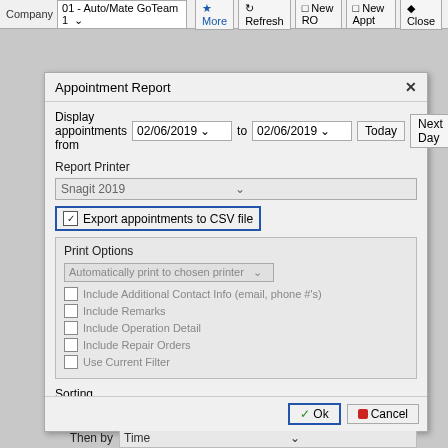[Figure (screenshot): Top toolbar with Company dropdown '01 - Auto/Mate GoTeam 1' and buttons: More, Refresh, New RO, New Appt, Close]
[Figure (screenshot): Appointment Report dialog box with date range selector (02/06/2019 to 02/06/2019), Today/Next Day buttons, Report Printer (Snagit 2019), Export appointments to CSV file checkbox (checked), Print Options group with auto-print dropdown and unchecked checkboxes, Sorting section with First by Date / Then by Time / Then by Advisor / Then by Technician dropdowns, and Ok/Cancel buttons at bottom.]